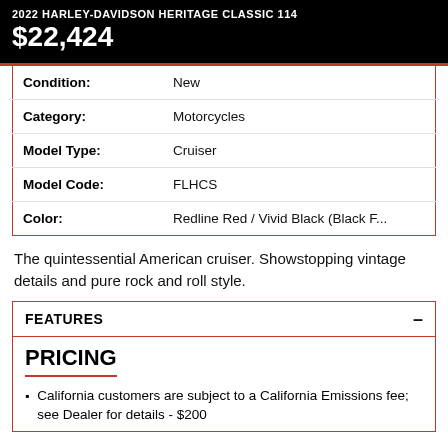2022 HARLEY-DAVIDSON HERITAGE CLASSIC 114 $22,424
| Field | Value |
| --- | --- |
| Condition: | New |
| Category: | Motorcycles |
| Model Type: | Cruiser |
| Model Code: | FLHCS |
| Color: | Redline Red / Vivid Black (Black F... |
The quintessential American cruiser. Showstopping vintage details and pure rock and roll style.
FEATURES
PRICING
California customers are subject to a California Emissions fee; see Dealer for details - $200